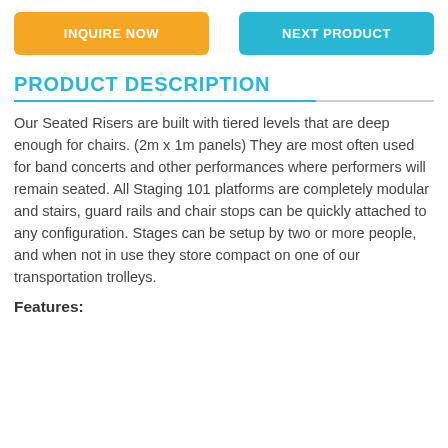INQUIRE NOW | NEXT PRODUCT
PRODUCT DESCRIPTION
Our Seated Risers are built with tiered levels that are deep enough for chairs. (2m x 1m panels) They are most often used for band concerts and other performances where performers will remain seated. All Staging 101 platforms are completely modular and stairs, guard rails and chair stops can be quickly attached to any configuration. Stages can be setup by two or more people, and when not in use they store compact on one of our transportation trolleys.
Features: